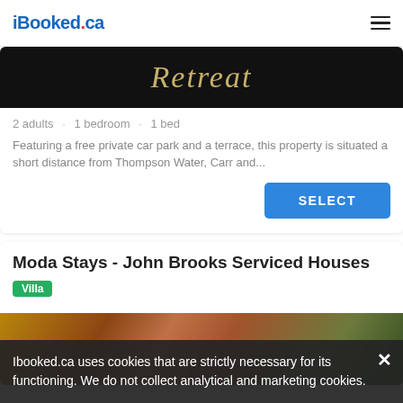iBooked.ca
[Figure (photo): Dark background image with italic gold/tan cursive text reading 'Retreat']
2 adults · 1 bedroom · 1 bed
Featuring a free private car park and a terrace, this property is situated a short distance from Thompson Water, Carr and...
SELECT
Moda Stays - John Brooks Serviced Houses
Villa
[Figure (photo): Interior room photo showing warm terracotta/rust colored wall, pendant light fixture, and framed artwork]
Ibooked.ca uses cookies that are strictly necessary for its functioning. We do not collect analytical and marketing cookies.